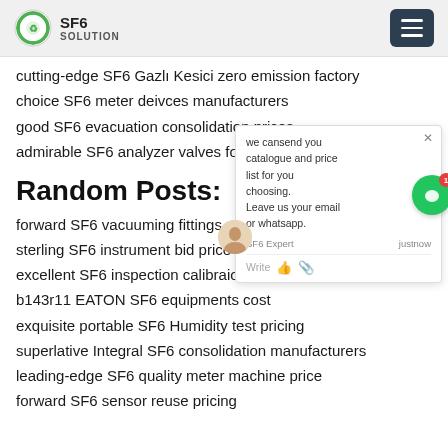SF6 SOLUTION
cutting-edge SF6 Gazlı Kesici zero emission factory
choice SF6 meter deivces manufacturers
good SF6 evacuation consolidation prices
admirable SF6 analyzer valves for sale
Random Posts:
forward SF6 vacuuming fittings cost
sterling SF6 instrument bid price
excellent SF6 inspection calibraion price
b143r11 EATON SF6 equipments cost
exquisite portable SF6 Humidity test pricing
superlative Integral SF6 consolidation manufacturers
leading-edge SF6 quality meter machine price
forward SF6 sensor reuse pricing